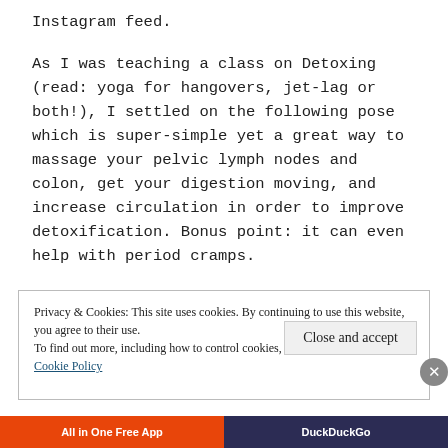Instagram feed.
As I was teaching a class on Detoxing (read: yoga for hangovers, jet-lag or both!), I settled on the following pose which is super-simple yet a great way to massage your pelvic lymph nodes and colon, get your digestion moving, and increase circulation in order to improve detoxification. Bonus point: it can even help with period cramps.
Privacy & Cookies: This site uses cookies. By continuing to use this website, you agree to their use.
To find out more, including how to control cookies, see here: Cookie Policy
Close and accept